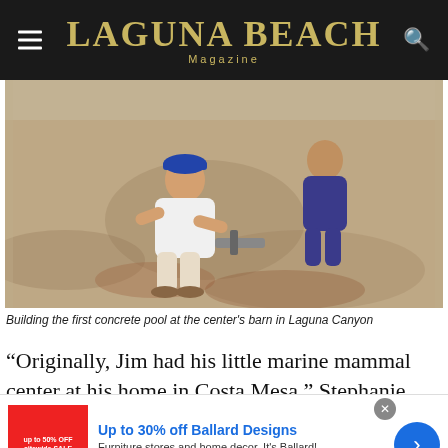Laguna Beach Magazine
[Figure (photo): Workers building the first concrete pool at the center's barn in Laguna Canyon. Two people are kneeling on concrete ground working with tools.]
Building the first concrete pool at the center’s barn in Laguna Canyon
“Originally, Jim had his little marine mammal center at his home in Costa Mesa,” Stephanie says. “He had a big
[Figure (other): Advertisement banner: Up to 30% off Ballard Designs. Furniture stores and home decor. It's Ballard! ballarddesigns.com]